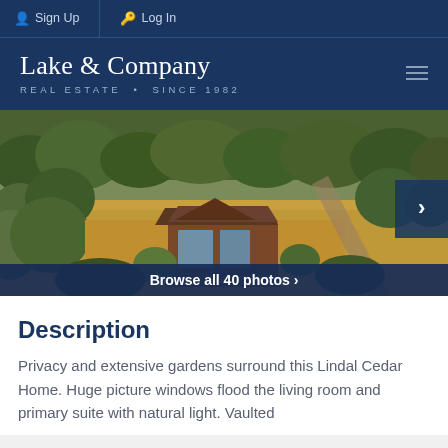Sign Up  Log In
Lake & Company REAL ESTATE • SINCE 1982
[Figure (photo): Aerial view of a Lindal Cedar Home surrounded by trees and extensive gardens, with a driveway visible. A navigation arrow button is overlaid on the right side of the image.]
Browse all 40 photos >
Description
Privacy and extensive gardens surround this Lindal Cedar Home. Huge picture windows flood the living room and primary suite with natural light. Vaulted